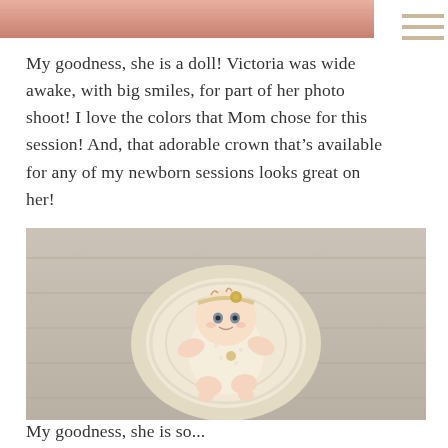[Figure (photo): Partial top photo showing pink/salmon colored fabric or wrap, cropped at top of page]
My goodness, she is a doll! Victoria was wide awake, with big smiles, for part of her photo shoot! I love the colors that Mom chose for this session! And, that adorable crown that’s available for any of my newborn sessions looks great on her!
[Figure (photo): Baby girl wearing a cream lace outfit and floral headband, sitting in a fluffy cream bowl prop on a rustic white wood floor, looking up at camera]
My goodness, she is so...